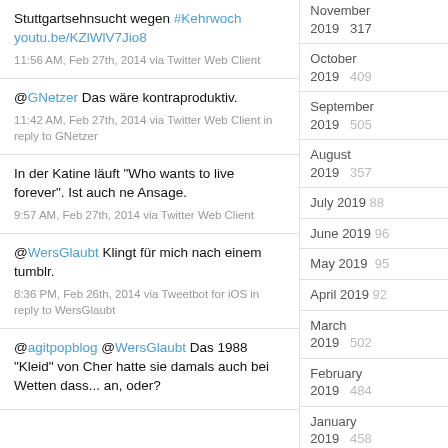Stuttgartsehnsucht wegen #Kehrwoch youtu.be/KZlWlV7Jio8
11:56 AM, Feb 27th, 2014 via Twitter Web Client
@GNetzer Das wäre kontraproduktiv.
11:42 AM, Feb 27th, 2014 via Twitter Web Client in reply to GNetzer
In der Katine läuft "Who wants to live forever". Ist auch ne Ansage.
9:57 AM, Feb 27th, 2014 via Twitter Web Client
@WersGlaubt Klingt für mich nach einem tumblr.
8:36 PM, Feb 26th, 2014 via Tweetbot for iOS in reply to WersGlaubt
@agitpopblog @WersGlaubt Das 1988 "Kleid" von Cher hatte sie damals auch bei Wetten dass... an, oder?
November 2019   317
October 2019   409
September 2019   505
August 2019   357
July 2019   88
June 2019   96
May 2019   95
April 2019   92
March 2019   502
February 2019   484
January 2019   458
December 2018   365
November 2018   250